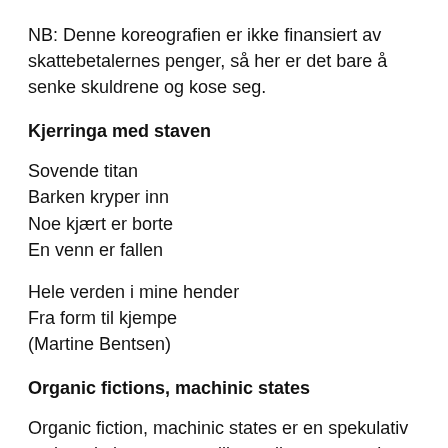NB: Denne koreografien er ikke finansiert av skattebetalernes penger, så her er det bare å senke skuldrene og kose seg.
Kjerringa med staven
Sovende titan
Barken kryper inn
Noe kjært er borte
En venn er fallen
Hele verden i mine hender
Fra form til kjempe
(Martine Bentsen)
Organic fictions, machinic states
Organic fiction, machinic states er en spekulativ undersøkelse av samspillet mellom mennesket og teknologi, naturlandskap og bylandskap, det “organiske” og det “kunstige”. Arbeidet inviterer